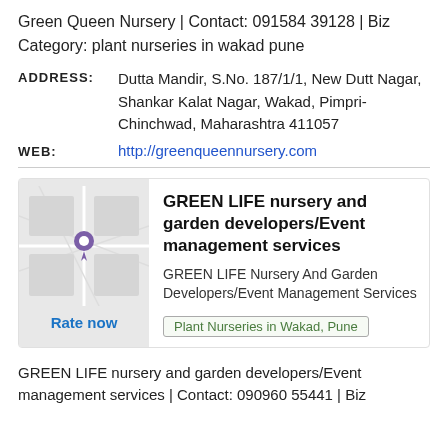Green Queen Nursery | Contact: 091584 39128 | Biz Category: plant nurseries in wakad pune
ADDRESS: Dutta Mandir, S.No. 187/1/1, New Dutt Nagar, Shankar Kalat Nagar, Wakad, Pimpri-Chinchwad, Maharashtra 411057
WEB: http://greenqueennursery.com
GREEN LIFE nursery and garden developers/Event management services
GREEN LIFE Nursery And Garden Developers/Event Management Services
Plant Nurseries in Wakad, Pune
Rate now
GREEN LIFE nursery and garden developers/Event management services | Contact: 090960 55441 | Biz